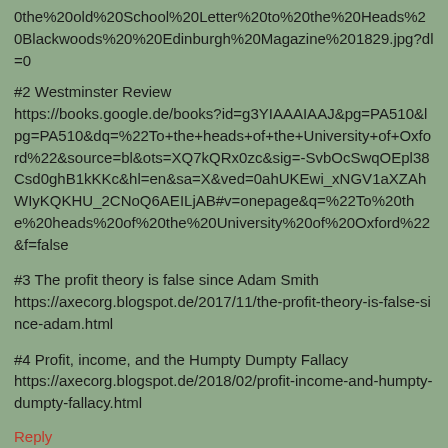0the%20old%20School%20Letter%20to%20the%20Heads%20Blackwoods%20%20Edinburgh%20Magazine%201829.jpg?dl=0
#2 Westminster Review
https://books.google.de/books?id=g3YIAAAIAAJ&pg=PA510&lpg=PA510&dq=%22To+the+heads+of+the+University+of+Oxford%22&source=bl&ots=XQ7kQRx0zc&sig=-SvbOcSwqOEpl38Csd0ghB1kKKc&hl=en&sa=X&ved=0ahUKEwi_xNGV1aXZAhWIyKQKHU_2CNoQ6AEILjAB#v=onepage&q=%22To%20the%20heads%20of%20the%20University%20of%20Oxford%22&f=false
#3 The profit theory is false since Adam Smith
https://axecorg.blogspot.de/2017/11/the-profit-theory-is-false-since-adam.html
#4 Profit, income, and the Humpty Dumpty Fallacy
https://axecorg.blogspot.de/2018/02/profit-income-and-humpty-dumpty-fallacy.html
Reply